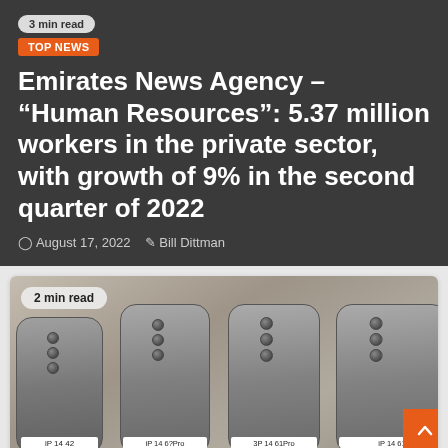3 min read
TOP NEWS
Emirates News Agency – “Human Resources”: 5.37 million workers in the private sector, with growth of 9% in the second quarter of 2022
August 17, 2022  Bill Dittman
[Figure (photo): Photo of four iPhone mold prototypes laid side by side on a surface, with handwritten labels reading 'iP 14 42', 'iP 14 6?Pro', '3P 14 61Pro', 'iP 14 61'. A '2 min read' badge is visible in the top-left of the image. An orange back-to-top button is in the bottom-right corner.]